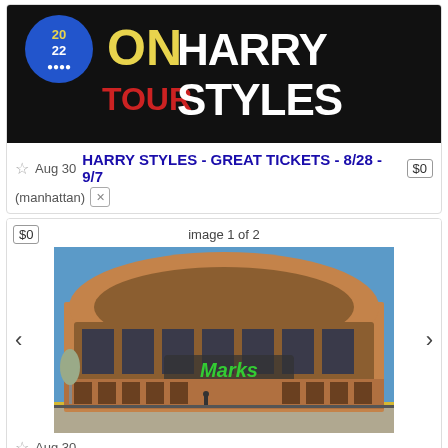[Figure (photo): Harry Styles 2022 On Tour concert promotional image with white bold text on black background]
☆ Aug 30 HARRY STYLES - GREAT TICKETS - 8/28 - 9/7 $0
(manhattan)
[Figure (photo): Citi Field stadium exterior with Marks Tickets sign overlay, blue sky background]
☆ Aug 30 METS TICKETS ★ NEW YORK NY vs DODGERS◦NATIONALS◦CUBS◦ PIRATES◦MARLINS